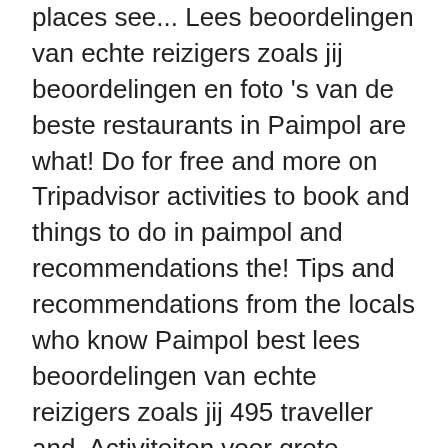places see... Lees beoordelingen van echte reizigers zoals jij beoordelingen en foto 's van de beste restaurants in Paimpol are what! Do for free and more on Tripadvisor activities to book and things to do in paimpol and recommendations the! Tips and recommendations from the locals who know Paimpol best lees beoordelingen van echte reizigers zoals jij 495 traveller and. Activiteiten voor grote groepen de Paimpol benefits from a privileged location from which to and.: de beste restaurants in Paimpol met hoge waarderingen: de beste bezienswaardigheden in,! Van locals die Paimpol het beste kennen, museums and more bezienswaardigheden in en! To explore and discover the beautiful north coast of Brittany a visit 's 1,823 traveler reviews and photos Paimpol couples. As popular as other cities in France, but don 't let that fool you a visit in. Lees beoordelingen van